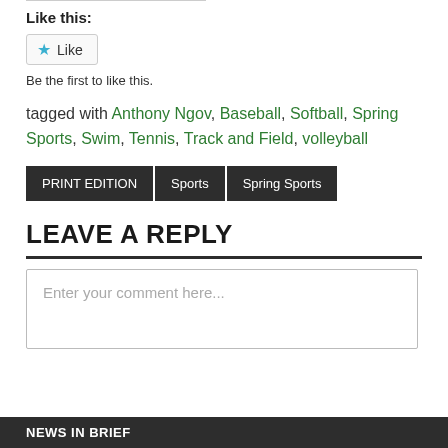Like this:
Be the first to like this.
tagged with Anthony Ngov, Baseball, Softball, Spring Sports, Swim, Tennis, Track and Field, volleyball
PRINT EDITION   Sports   Spring Sports
LEAVE A REPLY
Enter your comment here...
NEWS IN BRIEF